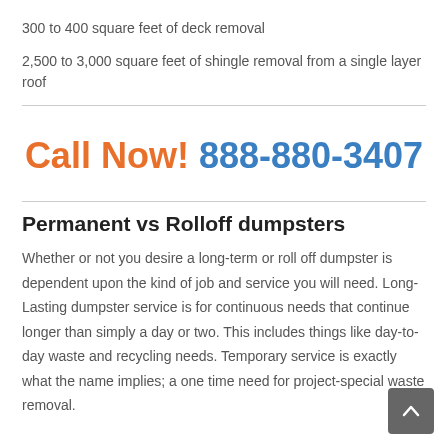300 to 400 square feet of deck removal
2,500 to 3,000 square feet of shingle removal from a single layer roof
Call Now! 888-880-3407
Permanent vs Rolloff dumpsters
Whether or not you desire a long-term or roll off dumpster is dependent upon the kind of job and service you will need. Long-Lasting dumpster service is for continuous needs that continue longer than simply a day or two. This includes things like day-to-day waste and recycling needs. Temporary service is exactly what the name implies; a one time need for project-special waste removal.